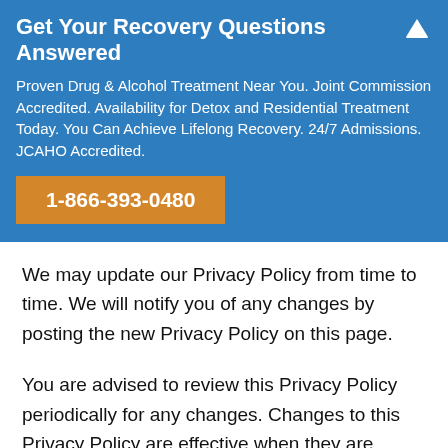Get Your Recovery Questions Answered
Proven Drug & Alcohol Treatment Near You. Joint Commission Accredited. Availability for Detox and Residential Treatment Today. You Can Achieve Lifelong Recovery. 24/7 Admissions. JCAHO Accredited.
1-866-393-0480
We may update our Privacy Policy from time to time. We will notify you of any changes by posting the new Privacy Policy on this page.
You are advised to review this Privacy Policy periodically for any changes. Changes to this Privacy Policy are effective when they are posted on this page.
Contact Us